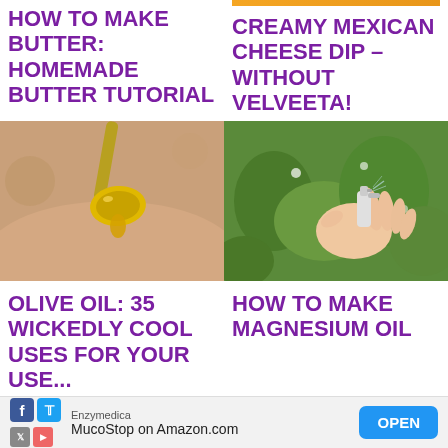HOW TO MAKE BUTTER: HOMEMADE BUTTER TUTORIAL
CREAMY MEXICAN CHEESE DIP – WITHOUT VELVEETA!
[Figure (photo): Close-up of golden olive oil dripping from a spoon]
[Figure (photo): Hand holding a spray bottle among green plants]
OLIVE OIL: 35 WICKEDLY COOL USES FOR YOUR
HOW TO MAKE MAGNESIUM OIL
Enzymedica MucoStop on Amazon.com OPEN